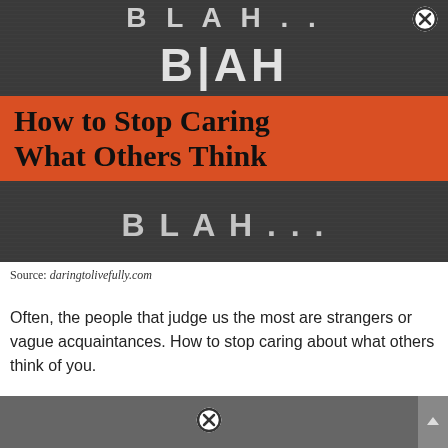[Figure (photo): Chalkboard image with 'BLAH BLAH BLAH' written in chalk, overlaid with an orange banner reading 'How to Stop Caring What Others Think', with a close button (X in circle) in the upper right area]
Source: daringtolivefully.com
Often, the people that judge us the most are strangers or vague acquaintances. How to stop caring about what others think of you.
[Figure (screenshot): Bottom gray banner/advertisement area with a close button (X in circle) visible]